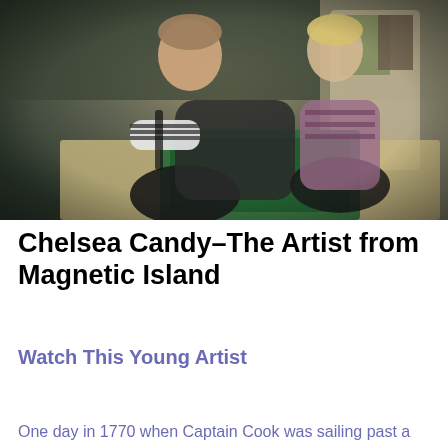[Figure (photo): Two women wearing dark aprons working together in an art studio. One woman in a striped long-sleeve shirt and black apron leans over a table examining a large print or artwork. The other woman in a plaid shirt and black apron stands nearby. The studio has various artworks and materials visible in the background. The photo appears to be taken with a wide-angle or fisheye lens.]
Chelsea Candy–The Artist from Magnetic Island
Watch This Young Artist
One day in 1770 when Captain Cook was sailing past a